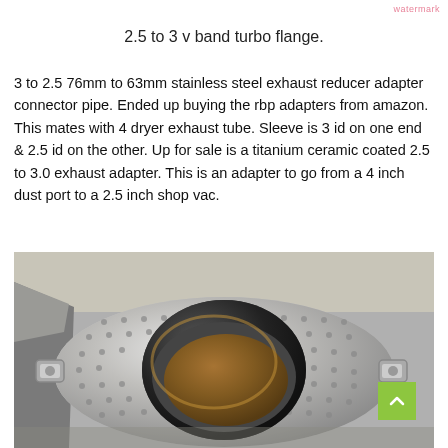2.5 to 3 v band turbo flange.
3 to 2.5 76mm to 63mm stainless steel exhaust reducer adapter connector pipe. Ended up buying the rbp adapters from amazon. This mates with 4 dryer exhaust tube. Sleeve is 3 id on one end & 2.5 id on the other. Up for sale is a titanium ceramic coated 2.5 to 3.0 exhaust adapter. This is an adapter to go from a 4 inch dust port to a 2.5 inch shop vac.
[Figure (photo): Close-up photo of a stainless steel v-band turbo flange adapter with a circular opening, showing perforated/dimpled surface texture and bolt hardware on the sides, viewed from above at an angle.]